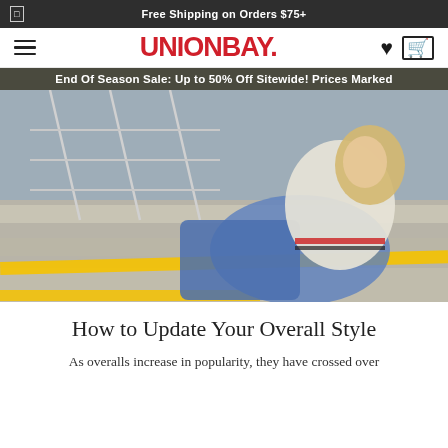Free Shipping on Orders $75+
UNIONBAY.
End Of Season Sale: Up to 50% Off Sitewide! Prices Marked
[Figure (photo): A young blonde woman wearing blue denim overalls over a white and striped sweater, reclining on concrete stairs with yellow safety strips, in an urban parking garage or similar setting.]
How to Update Your Overall Style
As overalls increase in popularity, they have crossed over